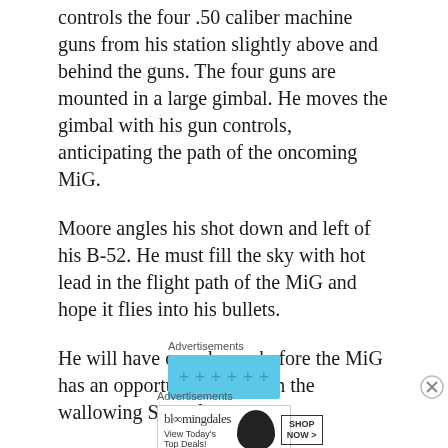controls the four .50 caliber machine guns from his station slightly above and behind the guns. The four guns are mounted in a large gimbal. He moves the gimbal with his gun controls, anticipating the path of the oncoming MiG.
Moore angles his shot down and left of his B-52. He must fill the sky with hot lead in the flight path of the MiG and hope it flies into his bullets.
He will have one chance before the MiG has an opportunity to fire on the wallowing Stratofortress.
Advertisements
[Figure (other): Blue advertisement banner with dot pattern]
Advertisements
[Figure (other): Bloomingdale's advertisement with logo, hat image, tagline 'View Today's Top Deals!' and 'SHOP NOW >' button]